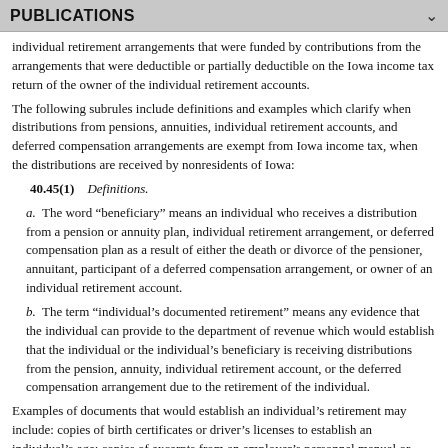PUBLICATIONS
individual retirement arrangements that were funded by contributions from the arrangements that were deductible or partially deductible on the Iowa income tax return of the owner of the individual retirement accounts.
The following subrules include definitions and examples which clarify when distributions from pensions, annuities, individual retirement accounts, and deferred compensation arrangements are exempt from Iowa income tax, when the distributions are received by nonresidents of Iowa:
40.45(1)    Definitions.
a.  The word “beneficiary” means an individual who receives a distribution from a pension or annuity plan, individual retirement arrangement, or deferred compensation plan as a result of either the death or divorce of the pensioner, annuitant, participant of a deferred compensation arrangement, or owner of an individual retirement account.
b.  The term “individual’s documented retirement” means any evidence that the individual can provide to the department of revenue which would establish that the individual or the individual’s beneficiary is receiving distributions from the pension, annuity, individual retirement account, or the deferred compensation arrangement due to the retirement of the individual.
Examples of documents that would establish an individual’s retirement may include: copies of birth certificates or driver’s licenses to establish an individual’s age; copies of excerpts from an employer’s personnel manual or letter from employer to establish retirement or early retirement policies; a copy of a statement from a physician to establish an individual’s disability which could have contributed to a person’s retirement.